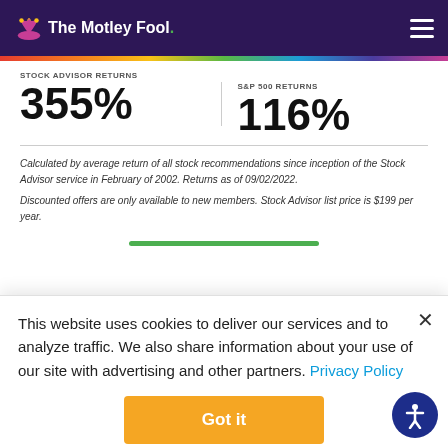[Figure (logo): The Motley Fool logo with jester hat on dark purple header with hamburger menu]
STOCK ADVISOR RETURNS
355%
S&P 500 RETURNS
116%
Calculated by average return of all stock recommendations since inception of the Stock Advisor service in February of 2002. Returns as of 09/02/2022.
Discounted offers are only available to new members. Stock Advisor list price is $199 per year.
This website uses cookies to deliver our services and to analyze traffic. We also share information about your use of our site with advertising and other partners. Privacy Policy
Got it
Cookie Settings